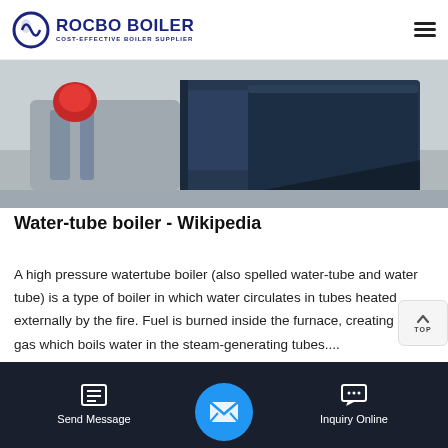ROCBO BOILER - COST-EFFECTIVE BOILER SUPPLIER
[Figure (photo): Close-up photo of a water-tube boiler industrial unit with visible pipes, valves, and metal casing in a factory setting]
Water-tube boiler - Wikipedia
A high pressure watertube boiler (also spelled water-tube and water tube) is a type of boiler in which water circulates in tubes heated externally by the fire. Fuel is burned inside the furnace, creating hot gas which boils water in the steam-generating tubes....
Send Message | Inquiry Online